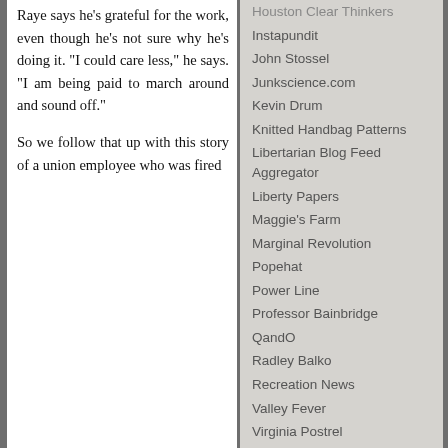Raye says he's grateful for the work, even though he's not sure why he's doing it. "I could care less," he says. "I am being paid to march around and sound off."
So we follow that up with this story of a union employee who was fired
Houston Clear Thinkers
Instapundit
John Stossel
Junkscience.com
Kevin Drum
Knitted Handbag Patterns
Libertarian Blog Feed Aggregator
Liberty Papers
Maggie's Farm
Marginal Revolution
Popehat
Power Line
Professor Bainbridge
QandO
Radley Balko
Recreation News
Valley Fever
Virginia Postrel
Volokh Conspiracy
RECREATION LINKS